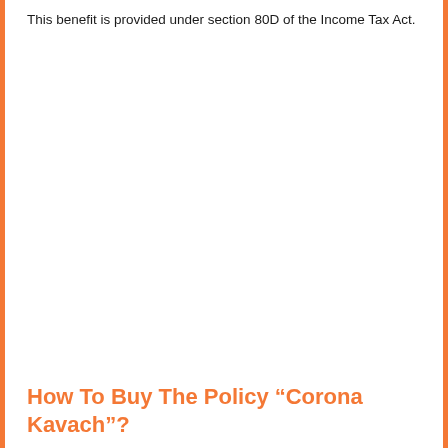This benefit is provided under section 80D of the Income Tax Act.
How To Buy The Policy “Corona Kavach”?